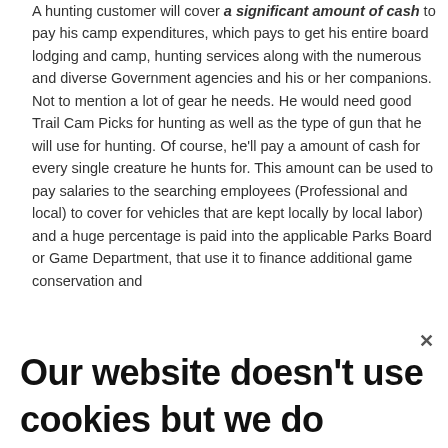A hunting customer will cover a significant amount of cash to pay his camp expenditures, which pays to get his entire board lodging and camp, hunting services along with the numerous and diverse Government agencies and his or her companions. Not to mention a lot of gear he needs. He would need good Trail Cam Picks for hunting as well as the type of gun that he will use for hunting. Of course, he'll pay a amount of cash for every single creature he hunts for. This amount can be used to pay salaries to the searching employees (Professional and local) to cover for vehicles that are kept locally by local labor) and a huge percentage is paid into the applicable Parks Board or Game Department, that use it to finance additional game conservation and
Our website doesn't use cookies but we do collect some basic data. Read more at our